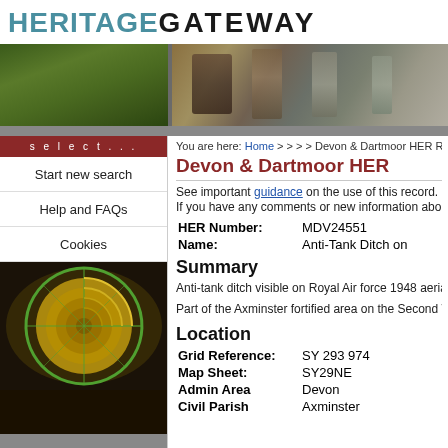HERITAGE GATEWAY
[Figure (photo): Banner photographs: left side shows green foliage/forest scene, right side shows ornamental iron fence or gate detail]
You are here: Home > > > > Devon & Dartmoor HER Re...
select...
Start new search
Help and FAQs
Cookies
[Figure (photo): Aerial view of a spiral staircase from above, with yellow/gold steps and green handrail]
Devon & Dartmoor HER
See important guidance on the use of this record.
If you have any comments or new information about this record, please email us.
| Field | Value |
| --- | --- |
| HER Number: | MDV24551 |
| Name: | Anti-Tank Ditch on... |
Summary
Anti-tank ditch visible on Royal Air force 1948 aeria... Part of the Axminster fortified area on the Second W...
Location
| Field | Value |
| --- | --- |
| Grid Reference: | SY 293 974 |
| Map Sheet: | SY29NE |
| Admin Area | Devon |
| Civil Parish | Axminster |